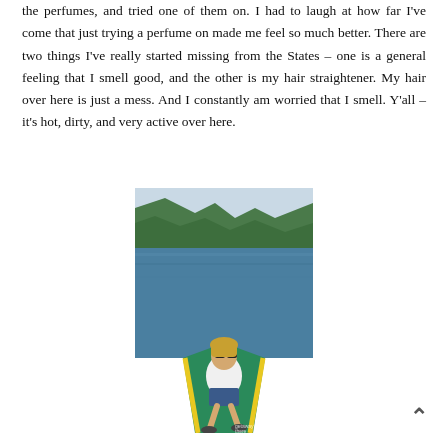the perfumes, and tried one of them on. I had to laugh at how far I've come that just trying a perfume on made me feel so much better. There are two things I've really started missing from the States – one is a general feeling that I smell good, and the other is my hair straightener. My hair over here is just a mess. And I constantly am worried that I smell. Y'all – it's hot, dirty, and very active over here.
[Figure (photo): A woman with blonde hair and sunglasses sitting on the bow of a green and yellow boat on a lake or river, with forested hills in the background.]